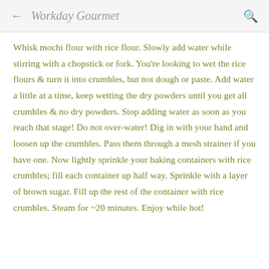← Workday Gourmet 🔍
Whisk mochi flour with rice flour. Slowly add water while stirring with a chopstick or fork. You're looking to wet the rice flours & turn it into crumbles, but not dough or paste. Add water a little at a time, keep wetting the dry powders until you get all crumbles & no dry powders. Stop adding water as soon as you reach that stage! Do not over-water! Dig in with your hand and loosen up the crumbles. Pass them through a mesh strainer if you have one. Now lightly sprinkle your baking containers with rice crumbles; fill each container up half way. Sprinkle with a layer of brown sugar. Fill up the rest of the container with rice crumbles. Steam for ~20 minutes. Enjoy while hot!